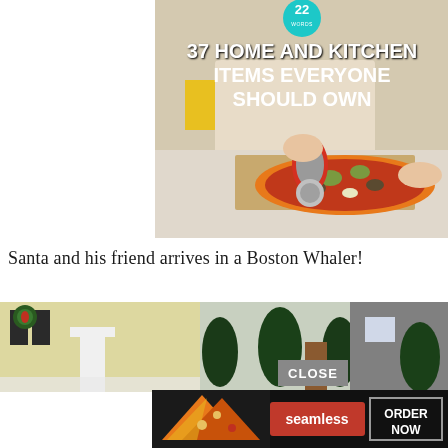[Figure (photo): Article thumbnail showing a person using a red pizza cutter on a pizza, with text overlay '37 HOME AND KITCHEN ITEMS EVERYONE SHOULD OWN' and a '22 WORDS' circular badge]
Santa and his friend arrives in a Boston Whaler!
[Figure (photo): Photo of a house decorated for Christmas, with holiday wreaths and snow, partially covered by a CLOSE button]
[Figure (photo): Seamless food ordering advertisement showing pizza slices, 'seamless' logo in red, and 'ORDER NOW' button]